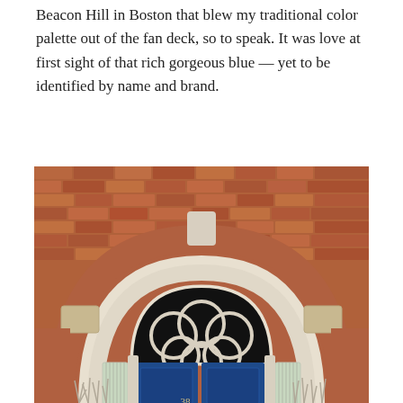Beacon Hill in Boston that blew my traditional color palette out of the fan deck, so to speak. It was love at first sight of that rich gorgeous blue — yet to be identified by name and brand.
[Figure (photo): Photograph of a Georgian-style doorway with a prominent brick arch, white molded fanlight with circular rose window pattern, and a rich blue double door numbered 38 with gold fleur-de-lis knockers, flanked by sidelights with vertical blinds and bare winter shrubs at the base.]